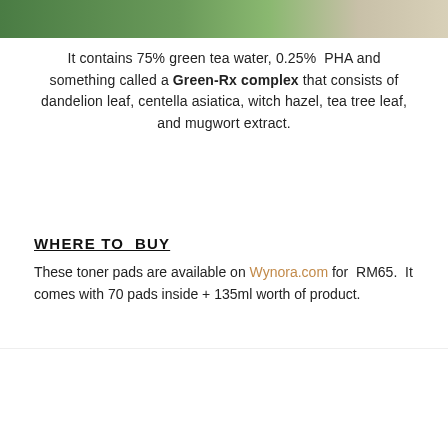[Figure (photo): Top portion of a green botanical/leaf background product photo]
It contains 75% green tea water, 0.25% PHA and something called a Green-Rx complex that consists of dandelion leaf, centella asiatica, witch hazel, tea tree leaf, and mugwort extract.
WHERE TO BUY
These toner pads are available on Wynora.com for RM65. It comes with 70 pads inside + 135ml worth of product.
[Figure (screenshot): Product listing screenshot showing Cosrx One Stop Green Hero Calming Pad 70 pcs with HOT DEAL badge, price MYR65.00 (MYR72.00 orig), FREE GIFT label, and Add to Cart button]